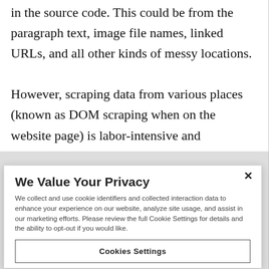in the source code. This could be from the paragraph text, image file names, linked URLs, and all other kinds of messy locations.
However, scraping data from various places (known as DOM scraping when on the website page) is labor-intensive and
We Value Your Privacy
We collect and use cookie identifiers and collected interaction data to enhance your experience on our website, analyze site usage, and assist in our marketing efforts. Please review the full Cookie Settings for details and the ability to opt-out if you would like.
Cookies Settings